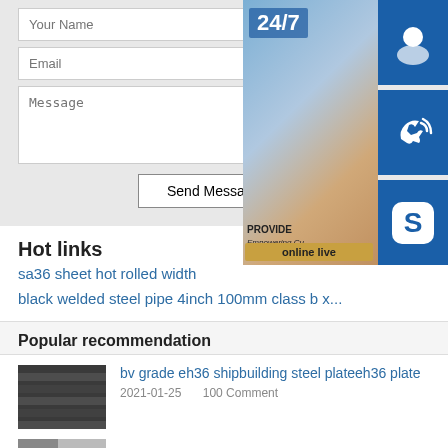[Figure (screenshot): Contact form with fields: Your Name, Email, Message, and a Send Message button. Overlaid on the right is a customer support widget showing a woman with headset, '24/7' text, headphone icon, phone icon, Skype icon, and 'online live' button.]
Hot links
sa36 sheet hot rolled width
black welded steel pipe 4inch 100mm class b x
Popular recommendation
[Figure (photo): Thumbnail photo of stacked steel plates]
bv grade eh36 shipbuilding steel plateeh36 plate
2021-01-25    100 Comment
[Figure (photo): Thumbnail photo of steel material]